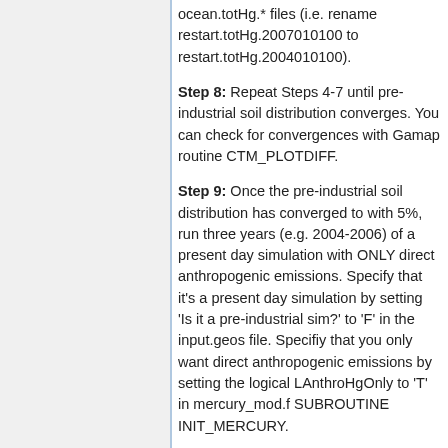ocean.totHg.* files (i.e. rename restart.totHg.2007010100 to restart.totHg.2004010100).
Step 8: Repeat Steps 4-7 until pre-industrial soil distribution converges. You can check for convergences with Gamap routine CTM_PLOTDIFF.
Step 9: Once the pre-industrial soil distribution has converged to with 5%, run three years (e.g. 2004-2006) of a present day simulation with ONLY direct anthropogenic emissions. Specify that it's a present day simulation by setting 'Is it a pre-industrial sim?' to 'F' in the input.geos file. Specifiy that you only want direct anthropogenic emissions by setting the logical LAnthroHgOnly to 'T' in mercury_mod.f SUBROUTINE INIT_MERCURY.